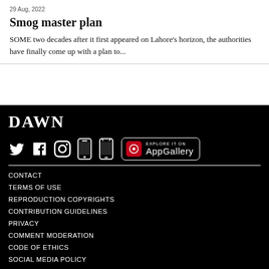29 Aug, 2022
Smog master plan
SOME two decades after it first appeared on Lahore's horizon, the authorities have finally come up with a plan to...
[Figure (logo): DAWN newspaper logo in white text on black background]
[Figure (infographic): Social media icons: Twitter, Facebook, Instagram, iOS app, Android app, and AppGallery button]
CONTACT
TERMS OF USE
REPRODUCTION COPYRIGHTS
CONTRIBUTION GUIDELINES
PRIVACY
COMMENT MODERATION
CODE OF ETHICS
SOCIAL MEDIA POLICY
SUBSCRIBE TO NEWSPAPER
ADVERTISE ON DAWN.COM